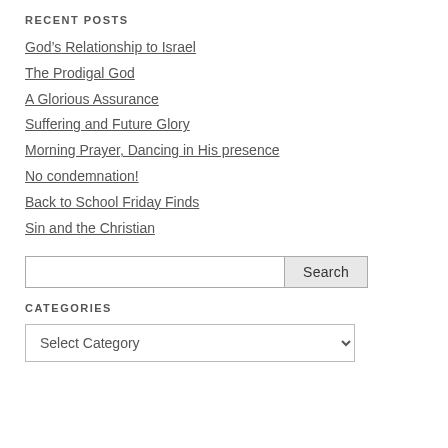RECENT POSTS
God's Relationship to Israel
The Prodigal God
A Glorious Assurance
Suffering and Future Glory
Morning Prayer, Dancing in His presence
No condemnation!
Back to School Friday Finds
Sin and the Christian
CATEGORIES